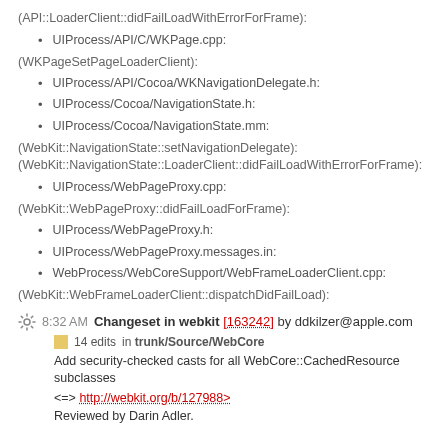(API::LoaderClient::didFailLoadWithErrorForFrame):
UIProcess/API/C/WKPage.cpp:
(WKPageSetPageLoaderClient):
UIProcess/API/Cocoa/WKNavigationDelegate.h:
UIProcess/Cocoa/NavigationState.h:
UIProcess/Cocoa/NavigationState.mm:
(WebKit::NavigationState::setNavigationDelegate):
(WebKit::NavigationState::LoaderClient::didFailLoadWithErrorForFrame):
UIProcess/WebPageProxy.cpp:
(WebKit::WebPageProxy::didFailLoadForFrame):
UIProcess/WebPageProxy.h:
UIProcess/WebPageProxy.messages.in:
WebProcess/WebCoreSupport/WebFrameLoaderClient.cpp:
(WebKit::WebFrameLoaderClient::dispatchDidFailLoad):
8:32 AM Changeset in webkit [163242] by ddkilzer@apple.com
14 edits in trunk/Source/WebCore
Add security-checked casts for all WebCore::CachedResource subclasses
<=> http://webkit.org/b/127988>
Reviewed by Darin Adler.